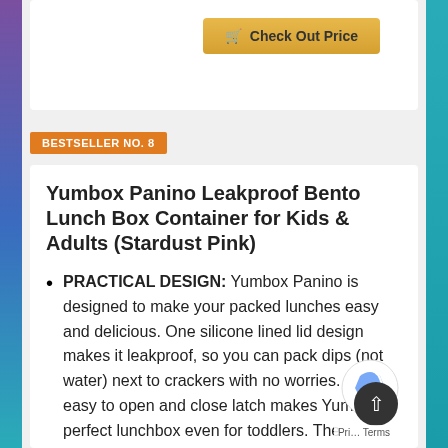[Figure (other): Check Out Price button with shopping cart icon, gold/yellow gradient background]
BESTSELLER NO. 8
Yumbox Panino Leakproof Bento Lunch Box Container for Kids & Adults (Stardust Pink)
PRACTICAL DESIGN: Yumbox Panino is designed to make your packed lunches easy and delicious. One silicone lined lid design makes it leakproof, so you can pack dips (not water) next to crackers with no worries. One easy to open and close latch makes Yumbox a perfect lunchbox even for toddlers. The removable compartmentalized tray is